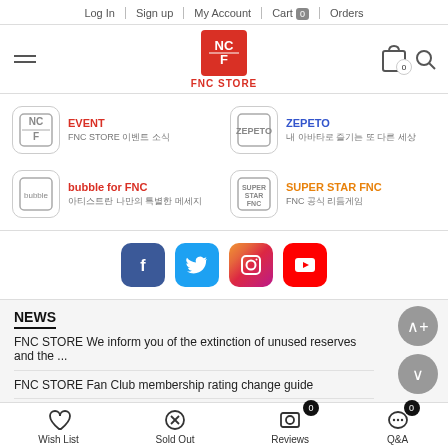Log In | Sign up | My Account | Cart 0 | Orders
[Figure (logo): FNC STORE logo - red square with NC/F letters, text FNC STORE below]
EVENT - FNC STORE 이벤트 소식
ZEPETO - 내 아바타로 즐기는 또 다른 세상
bubble for FNC - 아티스트란 나만의 특별한 메세지
SUPER STAR FNC - FNC 공식 리듬게임
[Figure (infographic): Social media icons: Facebook, Twitter, Instagram, YouTube]
NEWS
FNC STORE We inform you of the extinction of unused reserves and the ...
FNC STORE Fan Club membership rating change guide
Wish List | Sold Out | Reviews 0 | Q&A 0